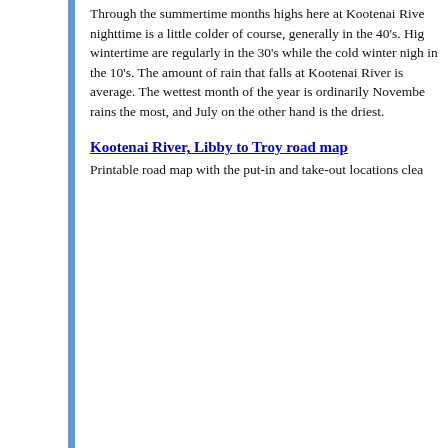Through the summertime months highs here at Kootenai River nighttime is a little colder of course, generally in the 40's. Highs in wintertime are regularly in the 30's while the cold winter nights are in the 10's. The amount of rain that falls at Kootenai River is average. The wettest month of the year is ordinarily November rains the most, and July on the other hand is the driest.
Kootenai River, Libby to Troy road map
Printable road map with the put-in and take-out locations clea